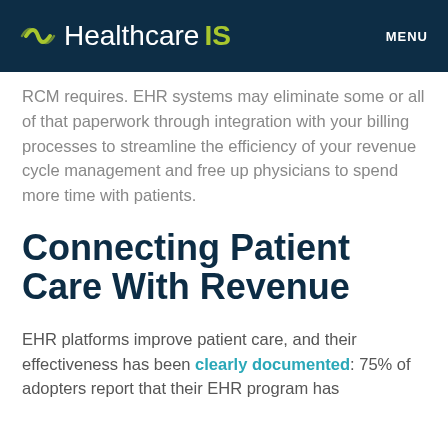Healthcare IS   MENU
RCM requires. EHR systems may eliminate some or all of that paperwork through integration with your billing processes to streamline the efficiency of your revenue cycle management and free up physicians to spend more time with patients.
Connecting Patient Care With Revenue
EHR platforms improve patient care, and their effectiveness has been clearly documented: 75% of adopters report that their EHR program has